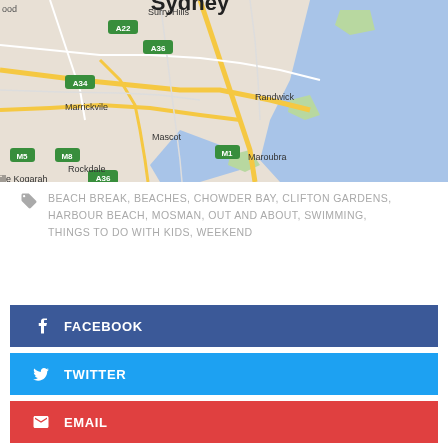[Figure (map): Google Maps screenshot showing Sydney area including suburbs: Surry Hills, Marrickvile, Randwick, Mascot, Maroubra, Rockdale, Kogarah, with road labels A22, A34, A36, M1, M5, M8. Ocean/bay shown in blue on right side.]
BEACH BREAK, BEACHES, CHOWDER BAY, CLIFTON GARDENS, HARBOUR BEACH, MOSMAN, OUT AND ABOUT, SWIMMING, THINGS TO DO WITH KIDS, WEEKEND
FACEBOOK
TWITTER
EMAIL